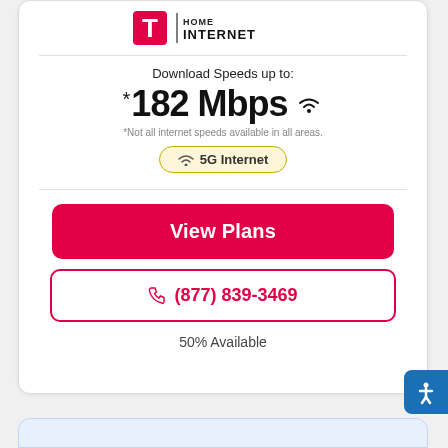[Figure (logo): T-Mobile Home Internet logo with magenta T icon and vertical bar followed by HOME INTERNET text]
Download Speeds up to:
*182 Mbps (wifi symbol)
*Not all internet speeds available in all areas.
5G Internet
View Plans
(877) 839-3469
50% Available